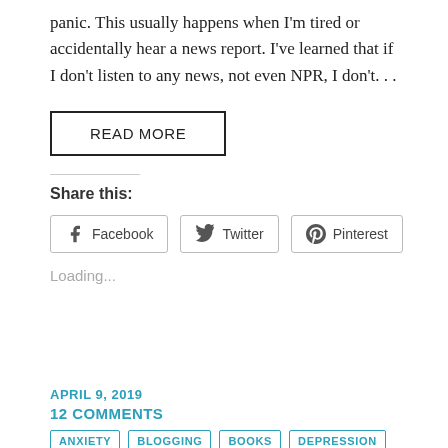panic. This usually happens when I'm tired or accidentally hear a news report. I've learned that if I don't listen to any news, not even NPR, I don't...
READ MORE
Share this:
Facebook  Twitter  Pinterest
Loading...
APRIL 9, 2019
12 COMMENTS
ANXIETY  BLOGGING  BOOKS  DEPRESSION  DOGS